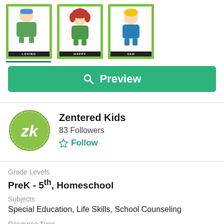[Figure (illustration): Three illustrated character cards with green borders: 'LOVING' (boy with blue hat), 'HAPPY' (girl with red hair), 'SAD' (blonde boy in blue), shown as product preview thumbnails]
[Figure (other): Green 'Preview' button with magnifying glass icon]
[Figure (logo): Zentered Kids logo — green circle with stylized 'zk' lettering in white]
Zentered Kids
83 Followers
Follow
Grade Levels
PreK - 5th, Homeschool
Subjects
Special Education, Life Skills, School Counseling
Resource Type